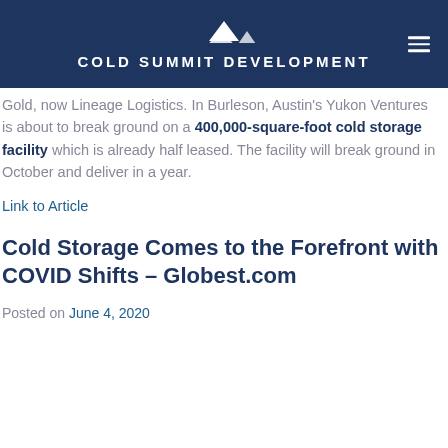Cold Summit Development
Gold, now Lineage Logistics. In Burleson, Austin's Yukon Ventures is about to break ground on a 400,000-square-foot cold storage facility which is already half leased. The facility will break ground in October and deliver in a year.
Link to Article
Cold Storage Comes to the Forefront with COVID Shifts – Globest.com
Posted on June 4, 2020